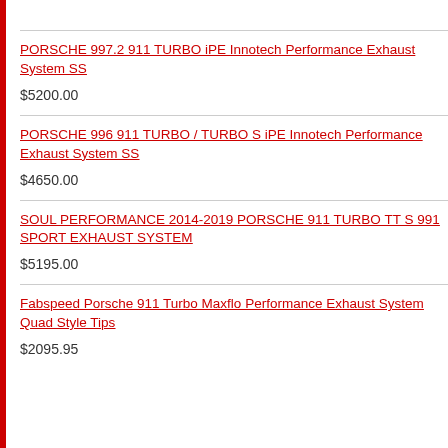PORSCHE 997.2 911 TURBO iPE Innotech Performance Exhaust System SS
$5200.00
PORSCHE 996 911 TURBO / TURBO S iPE Innotech Performance Exhaust System SS
$4650.00
SOUL PERFORMANCE 2014-2019 PORSCHE 911 TURBO TT S 991 SPORT EXHAUST SYSTEM
$5195.00
Fabspeed Porsche 911 Turbo Maxflo Performance Exhaust System Quad Style Tips
$2095.95